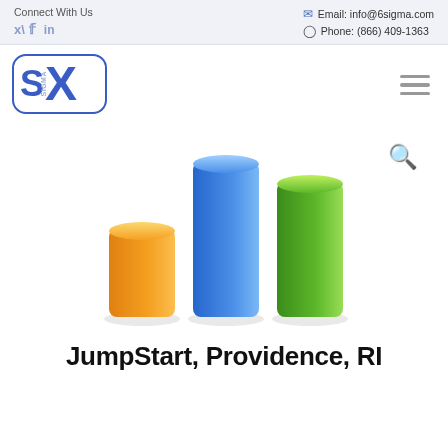Connect With Us | Email: info@6sigma.com | Phone: (866) 409-1363
[Figure (logo): Six Sigma logo: stylized S and X with 'SIGMA' text, in blue, inside rounded rectangle border]
[Figure (illustration): Three 3D bar chart bars: orange (short), blue (tall), green (medium-tall), decorative illustration representing data/analytics]
JumpStart, Providence, RI